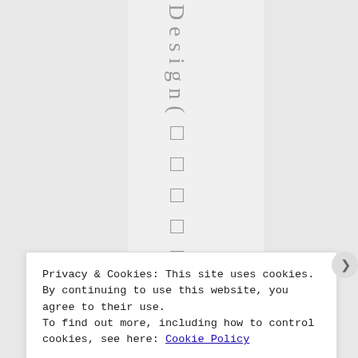[Figure (screenshot): Website background with three columns (left and right in light gray, center in lighter gray) and vertical text reading 'Design(' with five small square characters below it, rendered in a vertical writing mode.]
Privacy & Cookies: This site uses cookies. By continuing to use this website, you agree to their use.
To find out more, including how to control cookies, see here: Cookie Policy
Close and accept